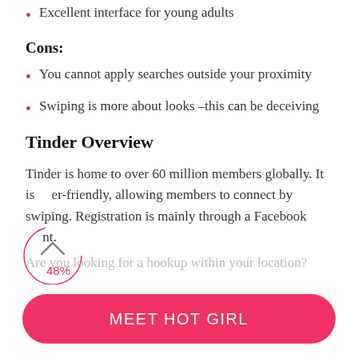Excellent interface for young adults
Cons:
You cannot apply searches outside your proximity
Swiping is more about looks –this can be deceiving
Tinder Overview
Tinder is home to over 60 million members globally. It is user-friendly, allowing members to connect by swiping. Registration is mainly through a Facebook account.
Are you looking for a hookup within your location?
MEET HOT GIRL